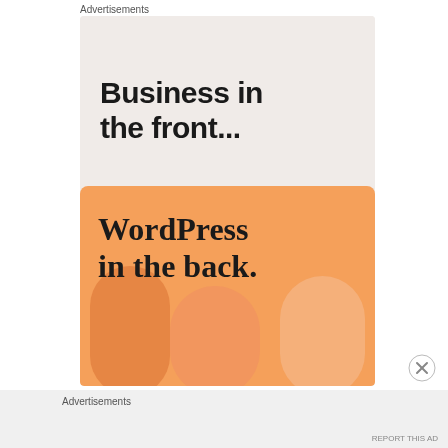Advertisements
[Figure (illustration): Advertisement banner. Top half has light beige background with bold black sans-serif text reading 'Business in the front...'. Bottom half has orange gradient background with decorative rounded blobs and serif bold text reading 'WordPress in the back.']
[Figure (other): Close/dismiss button circle with X]
Advertisements
REPORT THIS AD